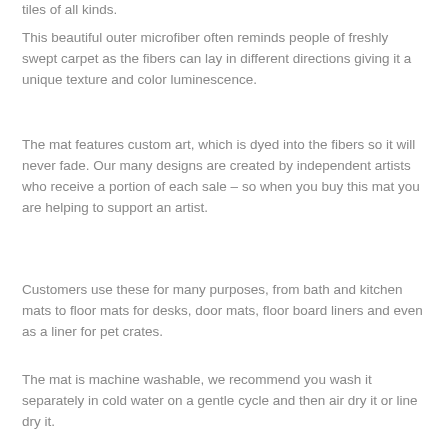tiles of all kinds.
This beautiful outer microfiber often reminds people of freshly swept carpet as the fibers can lay in different directions giving it a unique texture and color luminescence.
The mat features custom art, which is dyed into the fibers so it will never fade. Our many designs are created by independent artists who receive a portion of each sale – so when you buy this mat you are helping to support an artist.
Customers use these for many purposes, from bath and kitchen mats to floor mats for desks, door mats, floor board liners and even as a liner for pet crates.
The mat is machine washable, we recommend you wash it separately in cold water on a gentle cycle and then air dry it or line dry it.